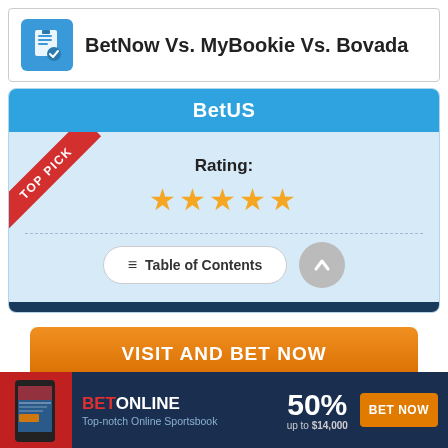BetNow Vs. MyBookie Vs. Bovada
BetUS
Rating:
★★★★★
≡ Table of Contents
VISIT AND BET NOW
No Fees with Crypto
[Figure (infographic): BetOnline banner ad: 50% up to $14,000 with BET NOW button]
BETONLINE Top-notch Online Sportsbook 50% up to $14,000 BET NOW